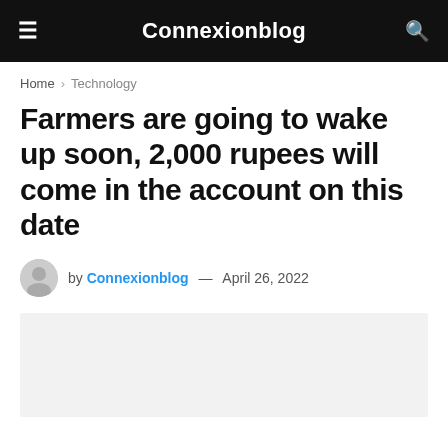Connexionblog
Home > Technology
Farmers are going to wake up soon, 2,000 rupees will come in the account on this date
by Connexionblog — April 26, 2022
[Figure (photo): Article image placeholder, light gray background]